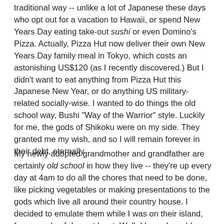traditional way -- unlike a lot of Japanese these days who opt out for a vacation to Hawaii, or spend New Years Day eating take-out sushi or even Domino's Pizza. Actually, Pizza Hut now deliver their own New Years Day family meal in Tokyo, which costs an astonishing US$120 (as I recently discovered.) But I didn't want to eat anything from Pizza Hut this Japanese New Year, or do anything US military-related socially-wise. I wanted to do things the old school way, Bushi "Way of the Warrior" style. Luckily for me, the gods of Shikoku were on my side. They granted me my wish, and so I will remain forever in their debt, eternally.
My newly adopted grandmother and grandfather are certainly old school in how they live -- they're up every day at 4am to do all the chores that need to be done, like picking vegetables or making presentations to the gods which live all around their country house. I decided to emulate them while I was on their island, for a couple of days at least. Well, I knew I would never be able to get up at 4am, but I wanted to enjoy all the clean-living fun of rural Japan -- working in the fields, taking the dog for a walk in the bamboo thickets, drinking warm sake under the warm